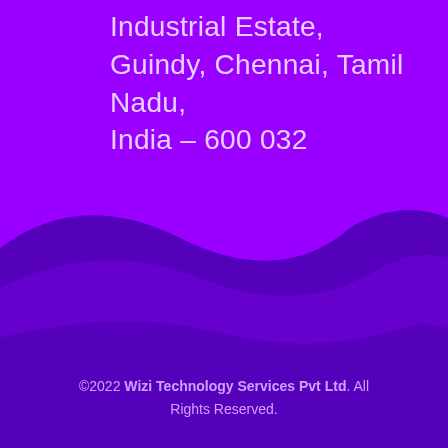Industrial Estate, Guindy, Chennai, Tamil Nadu, India – 600 032
©2022 Wizi Technology Services Pvt Ltd. All Rights Reserved.